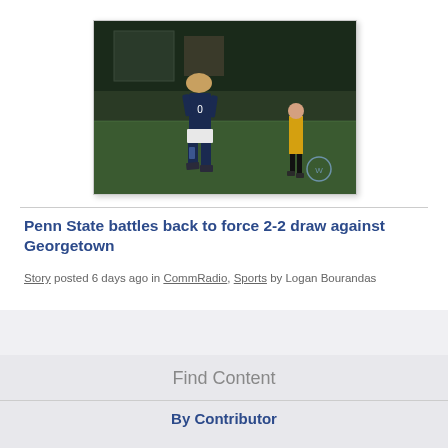[Figure (photo): A soccer player in dark Penn State uniform viewed from behind on a green field, with a referee in yellow visible in the background at night]
Penn State battles back to force 2-2 draw against Georgetown
Story posted 6 days ago in CommRadio, Sports by Logan Bourandas
Find Content
By Contributor